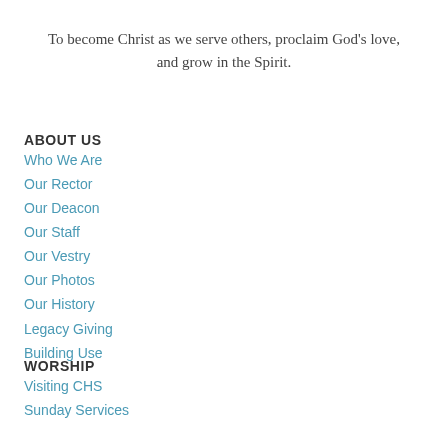To become Christ as we serve others, proclaim God's love, and grow in the Spirit.
ABOUT US
Who We Are
Our Rector
Our Deacon
Our Staff
Our Vestry
Our Photos
Our History
Legacy Giving
Building Use
WORSHIP
Visiting CHS
Sunday Services